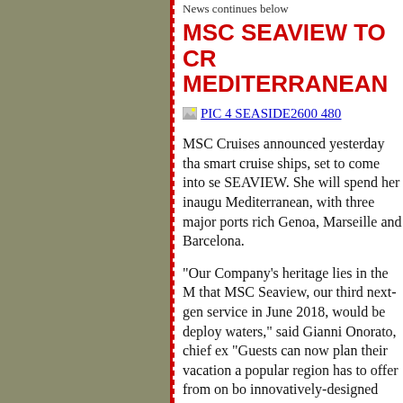News continues below
MSC SEAVIEW TO CR MEDITERRANEAN
[Figure (photo): Image placeholder link: PIC 4 SEASIDE2600 480]
MSC Cruises announced yesterday tha smart cruise ships, set to come into se SEAVIEW. She will spend her inaugu Mediterranean, with three major ports rich Genoa, Marseille and Barcelona.
"Our Company's heritage lies in the M that MSC Seaview, our third next-gen service in June 2018, would be deploy waters," said Gianni Onorato, chief ex "Guests can now plan their vacation a popular region has to offer from on bo innovatively-designed ships at sea."
MSC Cruises' Seaside-generation ship Fincantieri, one of the largest shipbuil proud of our partnership with Fincant innovatively-designed, new generatio